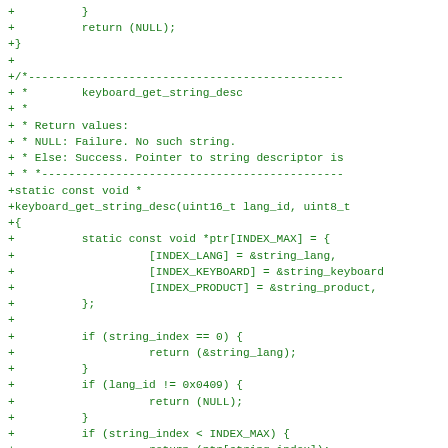+          }
+          return (NULL);
+}
+
+/*----------------------------------------------
+ *        keyboard_get_string_desc
+ *
+ * Return values:
+ * NULL: Failure. No such string.
+ * Else: Success. Pointer to string descriptor is
+ * *--------------------------------------------
+static const void *
+keyboard_get_string_desc(uint16_t lang_id, uint8_t
+{
+          static const void *ptr[INDEX_MAX] = {
+                    [INDEX_LANG] = &string_lang,
+                    [INDEX_KEYBOARD] = &string_keyboard
+                    [INDEX_PRODUCT] = &string_product,
+          };
+
+          if (string_index == 0) {
+                    return (&string_lang);
+          }
+          if (lang_id != 0x0409) {
+                    return (NULL);
+          }
+          if (string_index < INDEX_MAX) {
+                    return (ptr[string_index]);
+          }
+          return (NULL);